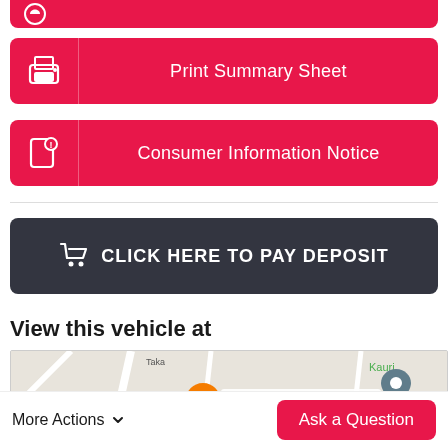[Figure (screenshot): Partial red button at top (cropped from above)]
Print Summary Sheet
Consumer Information Notice
CLICK HERE TO PAY DEPOSIT
View this vehicle at
[Figure (map): Google Maps showing location near Burger King Takanini, with street labels including Taka, evens Dr, Kauri, and a map pin icon]
More Actions
Ask a Question